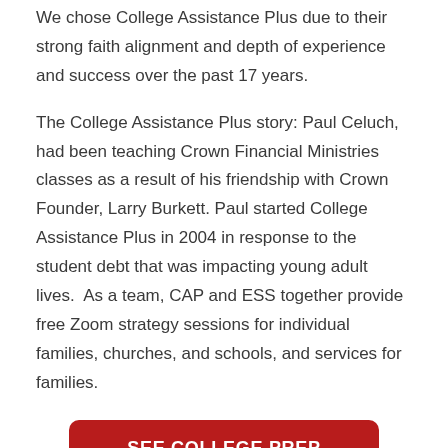We chose College Assistance Plus due to their strong faith alignment and depth of experience and success over the past 17 years.
The College Assistance Plus story: Paul Celuch, had been teaching Crown Financial Ministries classes as a result of his friendship with Crown Founder, Larry Burkett. Paul started College Assistance Plus in 2004 in response to the student debt that was impacting young adult lives. As a team, CAP and ESS together provide free Zoom strategy sessions for individual families, churches, and schools, and services for families.
[Figure (other): Red rounded rectangle button with white bold uppercase text reading 'SEE COLLEGE PREP SERVICES']